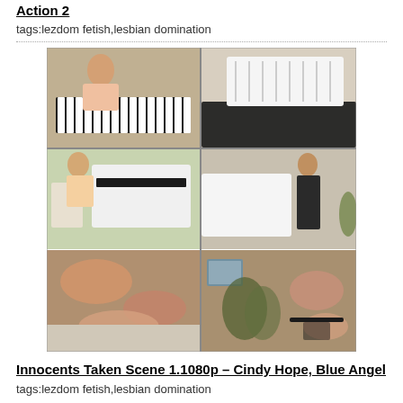Action 2
tags:lezdom fetish,lesbian domination
[Figure (photo): 6-panel thumbnail grid showing scenes with a white piano and two women]
Innocents Taken Scene 1.1080p – Cindy Hope, Blue Angel
tags:lezdom fetish,lesbian domination